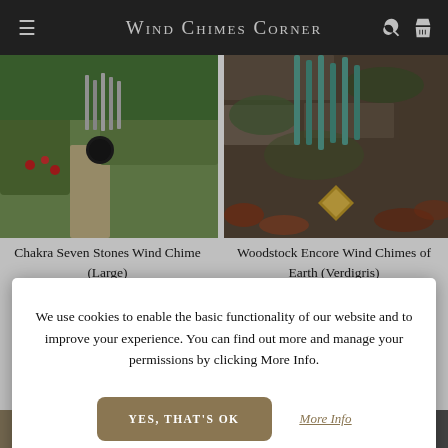Wind Chimes Corner
[Figure (photo): Wind chime with dark circular disc hanging in a garden with green grass and path in background]
[Figure (photo): Teal/verdigris colored wind chimes hanging against a mossy stone wall with a gold diamond-shaped ornament]
Chakra Seven Stones Wind Chime (Large)
Woodstock Encore Wind Chimes of Earth (Verdigris)
We use cookies to enable the basic functionality of our website and to improve your experience. You can find out more and manage your permissions by clicking More Info.
YES, THAT'S OK
More Info